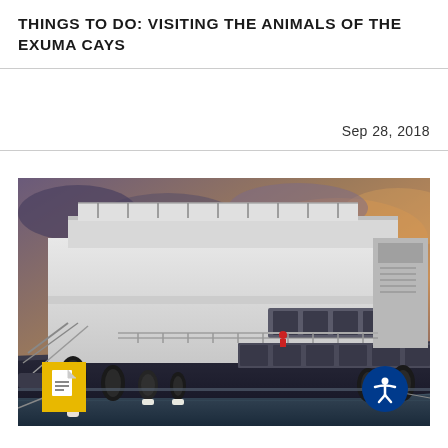THINGS TO DO: VISITING THE ANIMALS OF THE EXUMA CAYS
Sep 28, 2018
[Figure (photo): Close-up photograph of a large luxury yacht/superyacht docked at a marina. The vessel features multiple decks with railings, dark hull with white superstructure, large black cylindrical fenders/bumpers hanging from the side, fishing rod holders, and windows along the hull. The background shows a dramatic cloudy sky with warm sunset tones. A small figure in red is visible on a lower deck. A yellow document icon badge is in the upper left corner and an accessibility icon button is in the lower right corner.]